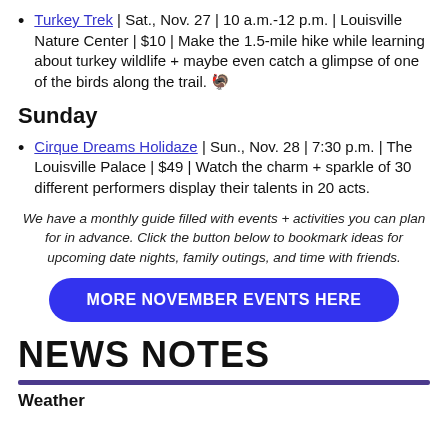Turkey Trek | Sat., Nov. 27 | 10 a.m.-12 p.m. | Louisville Nature Center | $10 | Make the 1.5-mile hike while learning about turkey wildlife + maybe even catch a glimpse of one of the birds along the trail. 🦃
Sunday
Cirque Dreams Holidaze | Sun., Nov. 28 | 7:30 p.m. | The Louisville Palace | $49 | Watch the charm + sparkle of 30 different performers display their talents in 20 acts.
We have a monthly guide filled with events + activities you can plan for in advance. Click the button below to bookmark ideas for upcoming date nights, family outings, and time with friends.
MORE NOVEMBER EVENTS HERE
NEWS NOTES
Weather